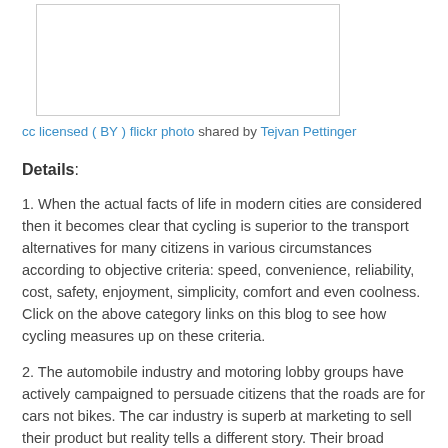[Figure (photo): A photo placeholder box (white rectangle with border)]
cc licensed ( BY ) flickr photo shared by Tejvan Pettinger
Details:
1. When the actual facts of life in modern cities are considered then it becomes clear that cycling is superior to the transport alternatives for many citizens in various circumstances according to objective criteria: speed, convenience, reliability, cost, safety, enjoyment, simplicity, comfort and even coolness. Click on the above category links on this blog to see how cycling measures up on these criteria.
2. The automobile industry and motoring lobby groups have actively campaigned to persuade citizens that the roads are for cars not bikes. The car industry is superb at marketing to sell their product but reality tells a different story. Their broad messages are as accurate as their ads depicting cars driving on empty roads.